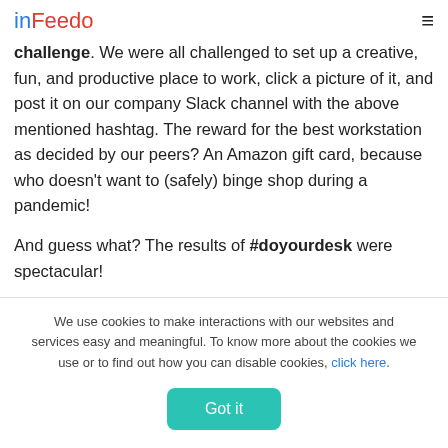inFeedo
challenge. We were all challenged to set up a creative, fun, and productive place to work, click a picture of it, and post it on our company Slack channel with the above mentioned hashtag. The reward for the best workstation as decided by our peers? An Amazon gift card, because who doesn't want to (safely) binge shop during a pandemic!
And guess what? The results of #doyourdesk were spectacular!
[Figure (photo): Partial image strip showing a photo at the bottom of the content area]
We use cookies to make interactions with our websites and services easy and meaningful. To know more about the cookies we use or to find out how you can disable cookies, click here.
Got it